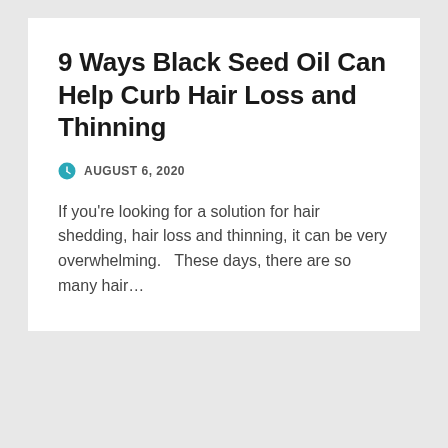9 Ways Black Seed Oil Can Help Curb Hair Loss and Thinning
AUGUST 6, 2020
If you're looking for a solution for hair shedding, hair loss and thinning, it can be very overwhelming.   These days, there are so many hair…